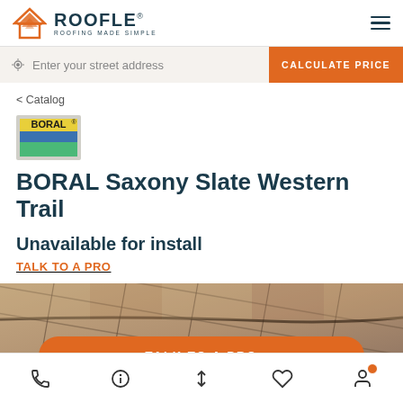[Figure (logo): ROOFLE logo with orange roof icon and text 'ROOFLE ROOFING MADE SIMPLE']
Enter your street address
CALCULATE PRICE
< Catalog
[Figure (logo): BORAL logo with colored stripes (yellow, blue, green)]
BORAL Saxony Slate Western Trail
Unavailable for install
TALK TO A PRO
[Figure (photo): Close-up photo of slate roof tiles in a brownish-gray color]
TALK TO A PRO
[Figure (infographic): Bottom navigation bar with phone, info, sort, heart, and user profile icons]